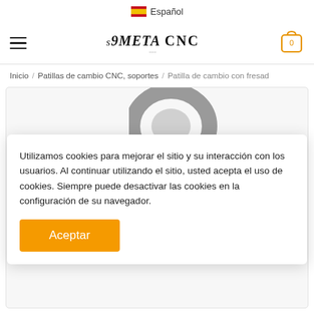Español
[Figure (logo): META CNC logo with stylized text and shopping cart icon showing 0 items]
Inicio / Patillas de cambio CNC, soportes / Patilla de cambio con fresad
[Figure (photo): Partial view of a CNC part - a curved dark metal component]
Utilizamos cookies para mejorar el sitio y su interacción con los usuarios. Al continuar utilizando el sitio, usted acepta el uso de cookies. Siempre puede desactivar las cookies en la configuración de su navegador.
Aceptar